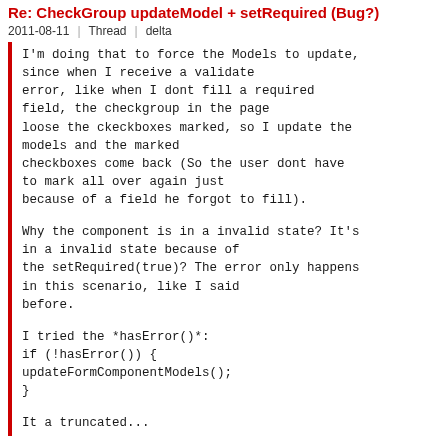Re: CheckGroup updateModel + setRequired (Bug?)
2011-08-11  Thread  delta
I'm doing that to force the Models to update, since when I receive a validate error, like when I dont fill a required field, the checkgroup in the page loose the ckeckboxes marked, so I update the models and the marked checkboxes come back (So the user dont have to mark all over again just because of a field he forgot to fill).

Why the component is in a invalid state? It's in a invalid state because of the setRequired(true)? The error only happens in this scenario, like I said before.

I tried the *hasError():
if (!hasError()) {
updateFormComponentModels();
}

It a truncated...